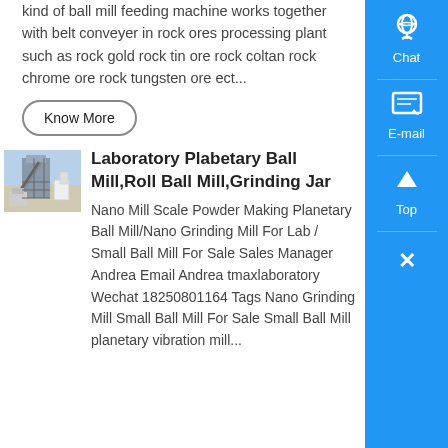kind of ball mill feeding machine works together with belt conveyer in rock ores processing plant such as rock gold rock tin ore rock coltan rock chrome ore rock tungsten ore ect...
Know More
[Figure (photo): Industrial ball mill or grinding equipment at a plant, with structural scaffolding visible]
Laboratory Plabetary Ball Mill,Roll Ball Mill,Grinding Jar
Nano Mill Scale Powder Making Planetary Ball Mill/Nano Grinding Mill For Lab / Small Ball Mill For Sale Sales Manager Andrea Email Andrea tmaxlaboratory Wechat 18250801164 Tags Nano Grinding Mill Small Ball Mill For Sale Small Ball Mill planetary vibration mill...